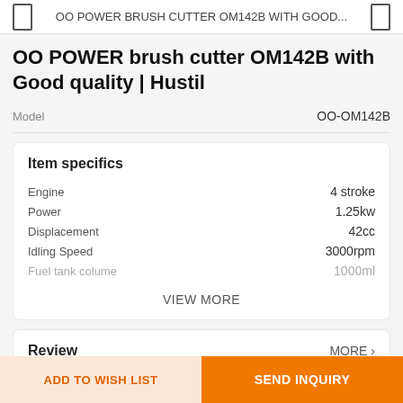OO POWER BRUSH CUTTER OM142B WITH GOOD...
OO POWER brush cutter OM142B with Good quality | Hustil
Model   OO-OM142B
Item specifics
| Attribute | Value |
| --- | --- |
| Engine | 4 stroke |
| Power | 1.25kw |
| Displacement | 42cc |
| Idling Speed | 3000rpm |
| Fuel tank colume | 1000ml |
VIEW MORE
Review
MORE ›
ADD TO WISH LIST
SEND INQUIRY